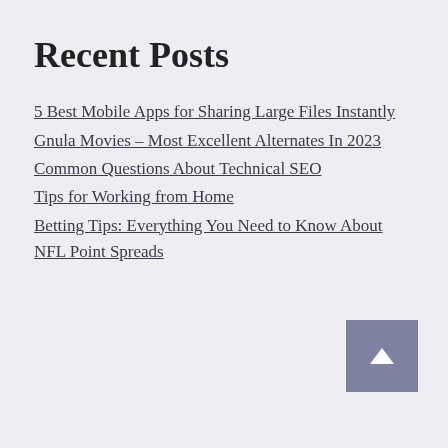Recent Posts
5 Best Mobile Apps for Sharing Large Files Instantly
Gnula Movies – Most Excellent Alternates In 2023
Common Questions About Technical SEO
Tips for Working from Home
Betting Tips: Everything You Need to Know About NFL Point Spreads